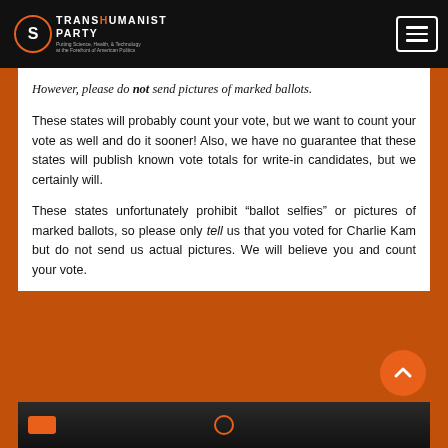Transhumanist Party — Putting Science, Health, & Technology at the Forefront of American Politics
However, please do not send pictures of marked ballots.
These states will probably count your vote, but we want to count your vote as well and do it sooner! Also, we have no guarantee that these states will publish known vote totals for write-in candidates, but we certainly will.
These states unfortunately prohibit “ballot selfies” or pictures of marked ballots, so please only tell us that you voted for Charlie Kam but do not send us actual pictures. We will believe you and count your vote.
[Figure (photo): Bottom portion of a dark/black image with orange elements, partially visible at the bottom of the page]